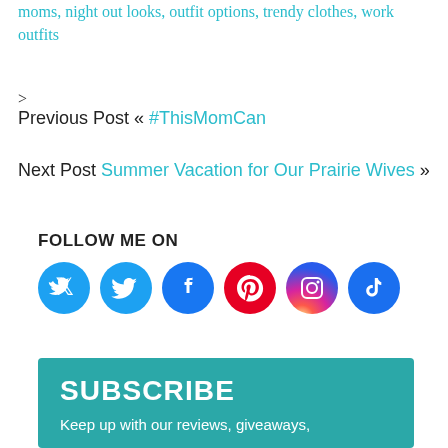moms, night out looks, outfit options, trendy clothes, work outfits
>
Previous Post « #ThisMomCan
Next Post Summer Vacation for Our Prairie Wives »
FOLLOW ME ON
[Figure (infographic): Social media icons: Twitter (blue), Facebook (blue), Pinterest (red), Instagram (pink), TikTok (blue)]
SUBSCRIBE
Keep up with our reviews, giveaways,